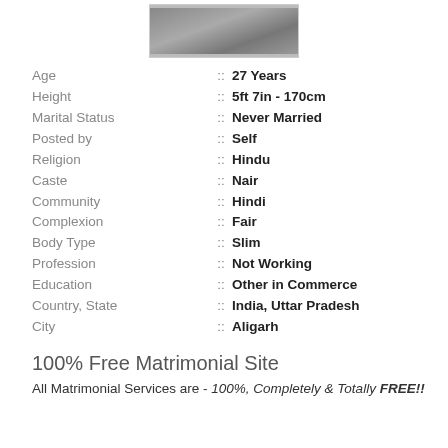[Figure (photo): Grayscale profile photo of a person]
Age :: 27 Years
Height :: 5ft 7in - 170cm
Marital Status :: Never Married
Posted by :: Self
Religion :: Hindu
Caste :: Nair
Community :: Hindi
Complexion :: Fair
Body Type :: Slim
Profession :: Not Working
Education :: Other in Commerce
Country, State :: India, Uttar Pradesh
City :: Aligarh
100% Free Matrimonial Site
All Matrimonial Services are - 100%, Completely & Totally FREE!!